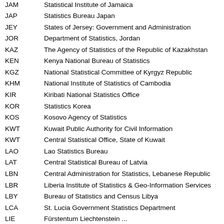JAM — Statistical Institute of Jamaica
JAP — Statistics Bureau Japan
JEY — States of Jersey: Government and Administration
JOR — Department of Statistics, Jordan
KAZ — The Agency of Statistics of the Republic of Kazakhstan
KEN — Kenya National Bureau of Statistics
KGZ — National Statistical Committee of Kyrgyz Republic
KHM — National Institute of Statistics of Cambodia
KIR — Kiribati National Statistics Office
KOR — Statistics Korea
KOS — Kosovo Agency of Statistics
KWT — Kuwait Public Authority for Civil Information
KWT — Central Statistical Office, State of Kuwait
LAO — Lao Statistics Bureau
LAT — Central Statistical Bureau of Latvia
LBN — Central Administration for Statistics, Lebanese Republic
LBR — Liberia Institute of Statistics & Geo-Information Services
LBY — Bureau of Statistics and Census Libya
LCA — St. Lucia Government Statistics Department
LIE — Fürstentum Liechtenstein ...